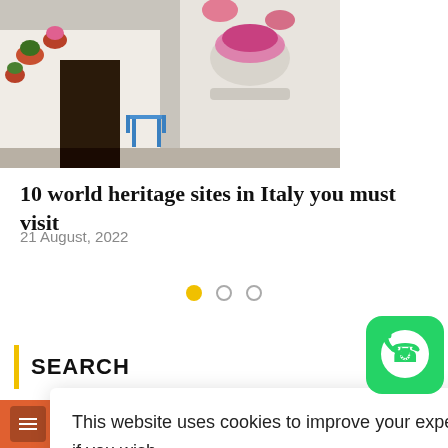[Figure (photo): Photo of a white Mediterranean courtyard/building with flower pots and plants]
10 world heritage sites in Italy you must visit
21 August, 2022
[Figure (other): Carousel navigation dots: one filled yellow, two outlined]
SEARCH
This website uses cookies to improve your experience. We'll assume you're ok with this, but you can opt-out if you wish.
Accept
Read more